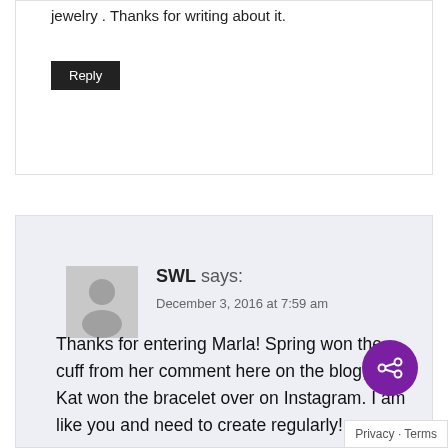jewelry . Thanks for writing about it.
Reply
[Figure (illustration): Gray placeholder avatar icon of a person silhouette]
SWL says:
December 3, 2016 at 7:59 am
Thanks for entering Marla! Spring won the cuff from her comment here on the blog, and Kat won the bracelet over on Instagram. I am like you and need to create regularly!
Reply